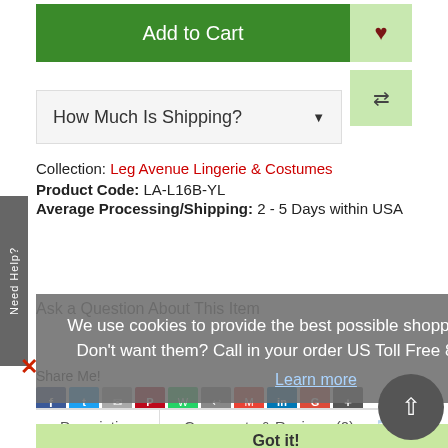Add to Cart
How Much Is Shipping?
Collection: Leg Avenue Lingerie & Costumes
Product Code: LA-L16B-YL
Average Processing/Shipping: 2 - 5 Days within USA
Need Help?
We use cookies to provide the best possible shopping experience. Don't want them? Call in your order US Toll Free 877-822-3318.
Learn more
Ask a Question About This Item
Share Me!
Description
Comments & Reviews (0)
Got it!
Yellow Satin Extra Long Opera Gloves...